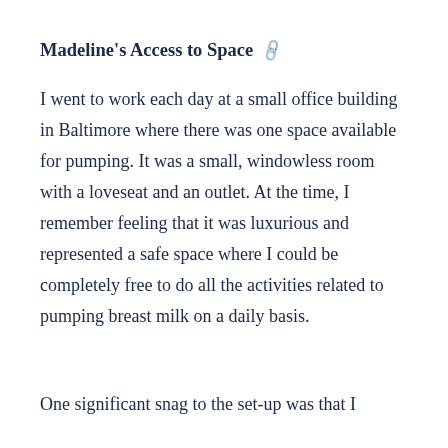Madeline's Access to Space 🔗
I went to work each day at a small office building in Baltimore where there was one space available for pumping. It was a small, windowless room with a loveseat and an outlet. At the time, I remember feeling that it was luxurious and represented a safe space where I could be completely free to do all the activities related to pumping breast milk on a daily basis.
One significant snag to the set-up was that I